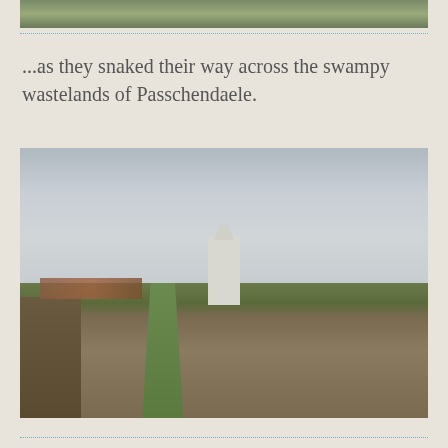[Figure (photo): Partial top image cropped, showing outdoor landscape with trees and water]
...as they snaked their way across the swampy wastelands of Passchendaele.
[Figure (photo): Photograph of a white stone memorial monument standing in flat agricultural fields near Passchendaele, Belgium. Overcast sky, green grass path leading to monument, ploughed brown fields on right, distant buildings and trees on horizon.]